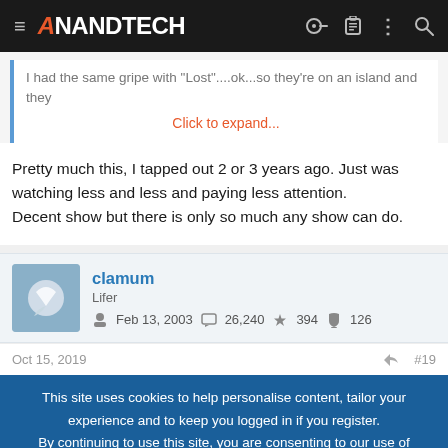AnandTech
I had the same gripe with "Lost"....ok...so they're on an island and they
Click to expand...
Pretty much this, I tapped out 2 or 3 years ago. Just was watching less and less and paying less attention.
Decent show but there is only so much any show can do.
clamum
Lifer
Feb 13, 2003   26,240   394   126
Oct 15, 2019   #19
This site uses cookies to help personalise content, tailor your experience and to keep you logged in if you register.
By continuing to use this site, you are consenting to our use of cookies.